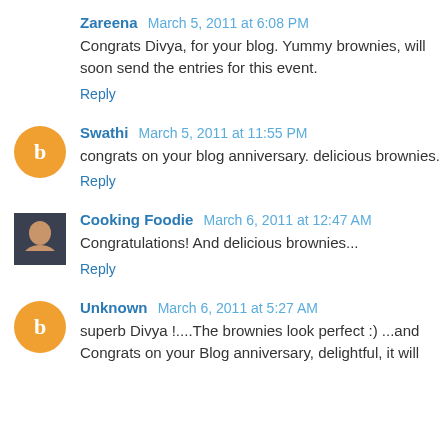Zareena March 5, 2011 at 6:08 PM
Congrats Divya, for your blog. Yummy brownies, will soon send the entries for this event.
Reply
Swathi March 5, 2011 at 11:55 PM
congrats on your blog anniversary. delicious brownies.
Reply
Cooking Foodie March 6, 2011 at 12:47 AM
Congratulations! And delicious brownies...
Reply
Unknown March 6, 2011 at 5:27 AM
superb Divya !....The brownies look perfect :) ...and Congrats on your Blog anniversary, delightful, it will...